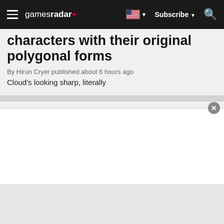gamesradar+  Subscribe
characters with their original polygonal forms
By Hirun Cryer published about 6 hours ago
Cloud's looking sharp, literally
Fans recreate Pokemon Legends: Arceus in Minecraft complete with storyline, quests, and collectibles
By Hope Bellingham published about 7 hours ago
The KleavorMC server is the first of its kind